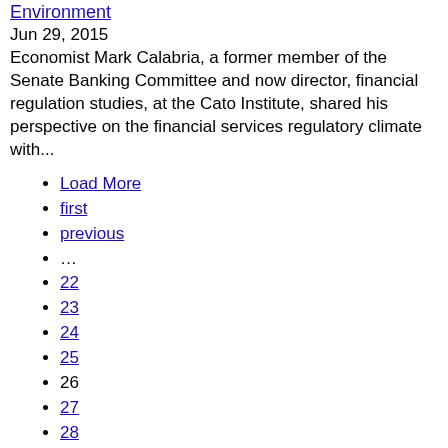Environment
Jun 29, 2015
Economist Mark Calabria, a former member of the Senate Banking Committee and now director, financial regulation studies, at the Cato Institute, shared his perspective on the financial services regulatory climate with...
Load More
first
previous
...
22
23
24
25
26
27
28
29
30
...
next
last
Load More